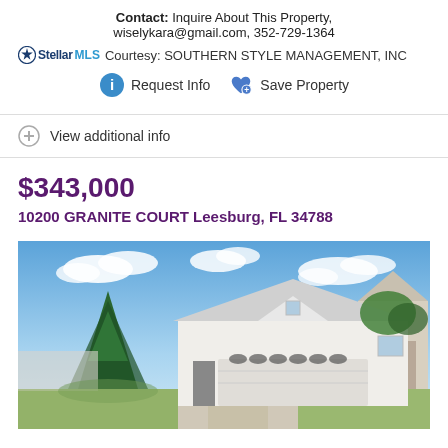Contact: Inquire About This Property, wiselykara@gmail.com, 352-729-1364
StellarMLS Courtesy: SOUTHERN STYLE MANAGEMENT, INC
Request Info   Save Property
View additional info
$343,000
10200 GRANITE COURT Leesburg, FL 34788
[Figure (photo): Exterior photo of a white single-story house with a large garage door, tall pine tree in front, blue sky with clouds]